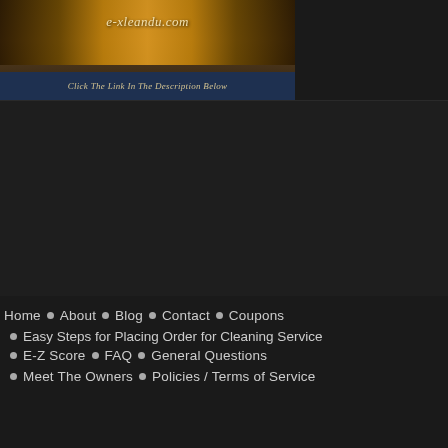[Figure (screenshot): Website banner for e-xleandu.com with decorative gold lights background and a dark blue subtitle bar reading 'Click The Link In The Description Below']
Home · About · Blog · Contact · Coupons · Easy Steps for Placing Order for Cleaning Service · E-Z Score · FAQ · General Questions · Meet The Owners · Policies / Terms of Service